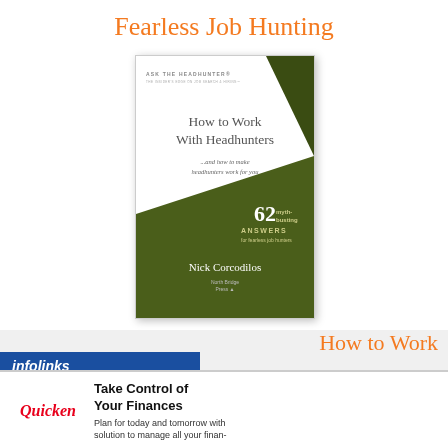Fearless Job Hunting
[Figure (photo): Book cover: 'How to Work With Headhunters ...and how to make headhunters work for you' by Nick Corcodilos. Ask The Headhunter series. 62 myth-busting answers for fearless job hunters. North Bridge Press. White top half with gray title text, olive green diagonal lower half with white text.]
How to Work
[Figure (logo): Infolinks logo - blue banner with white italic bold text 'infolinks']
[Figure (infographic): Quicken advertisement: Take Control of Your Finances. Plan for today and tomorrow with solution to manage all your finan-]